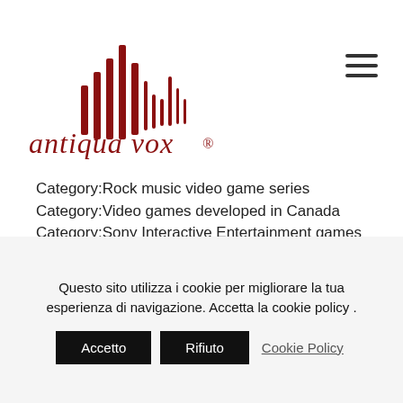[Figure (logo): Antiqua Vox logo with red sound-wave bars and italic red text 'antiqua vox®']
Category:Rock music video game series
Category:Video games developed in Canada
Category:Sony Interactive Entertainment games
Category:Rocksmith
Category:Pixar video games
Category:Redwood City, California
Category:Electronic Arts games
Category:Kemco games
Category:Konami games
Category:Sequel games
Questo sito utilizza i cookie per migliorare la tua esperienza di navigazione. Accetta la cookie policy .
Accetto | Rifiuto | Cookie Policy